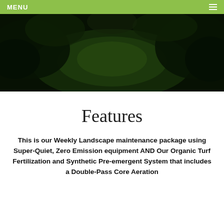MENU
[Figure (photo): Aerial or wide-angle view of a lush green lawn and garden with trees and shrubs, darkly tinted.]
Features
This is our Weekly Landscape maintenance package using Super-Quiet, Zero Emission equipment AND Our Organic Turf Fertilization and Synthetic Pre-emergent System that includes a Double-Pass Core Aeration